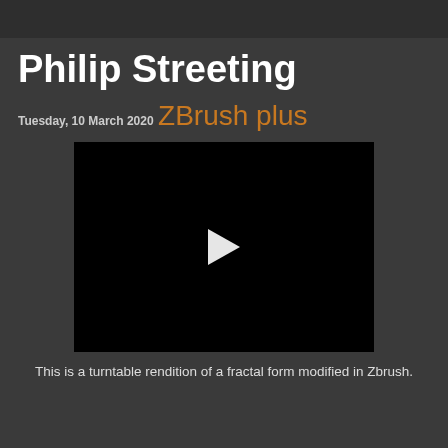Philip Streeting
Tuesday, 10 March 2020
ZBrush plus
[Figure (screenshot): Video player with black background and white play button triangle in the center]
This is a turntable rendition of a fractal form modified in Zbrush.